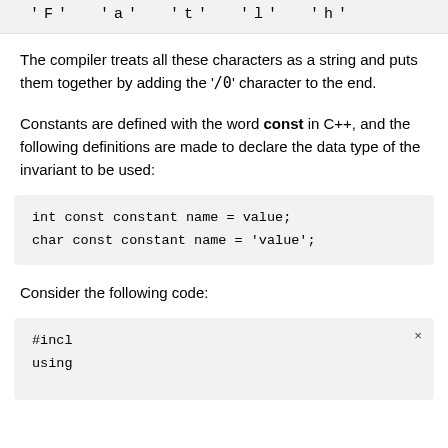[Figure (screenshot): Top code snippet showing character array: 'F' 'a' 't' 'l' 'h']
The compiler treats all these characters as a string and puts them together by adding the '/0' character to the end.
Constants are defined with the word const in C++, and the following definitions are made to declare the data type of the invariant to be used:
[Figure (screenshot): Code block: int const constant name = value; char const constant name = 'value';]
Consider the following code:
[Figure (screenshot): Partial code block showing #incl and using with a close (x) button]